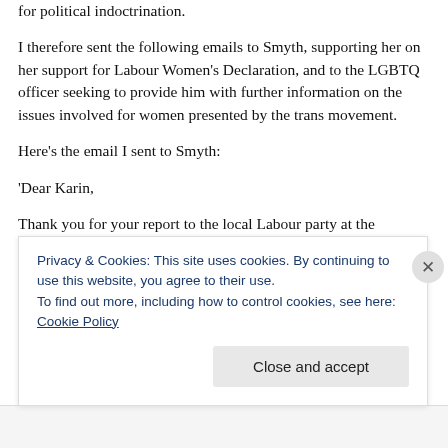for political indoctrination.
I therefore sent the following emails to Smyth, supporting her on her support for Labour Women's Declaration, and to the LGBTQ officer seeking to provide him with further information on the issues involved for women presented by the trans movement.
Here’s the email I sent to Smyth:
‘Dear Karin,
Thank you for your report to the local Labour party at the
Privacy & Cookies: This site uses cookies. By continuing to use this website, you agree to their use.
To find out more, including how to control cookies, see here: Cookie Policy
Close and accept